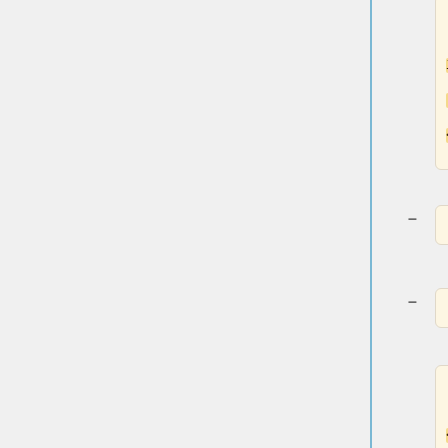<td>Current link status (Read-only)</td>
</tr>
<tr>
<td>
<b>Auto Negotiation</b></td>
<td>Enable or disable auto negotiation</td>
</tr>
<tr>
<td>